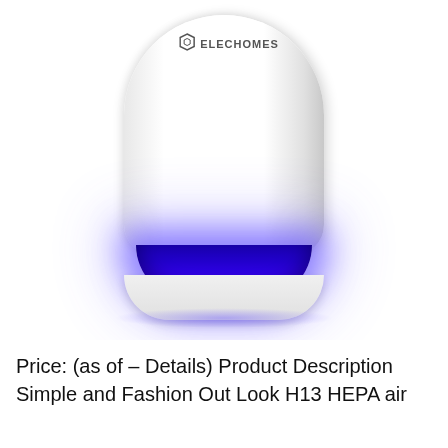[Figure (photo): Product photo of an ELECHOMES air purifier — a white cylindrical device with a blue glowing slot/vent at the bottom base. The brand logo 'ELECHOMES' with a hexagonal icon is visible near the top of the device. The base emits a vivid blue/purple light glow.]
Price: (as of – Details) Product Description Simple and Fashion Out Look H13 HEPA air